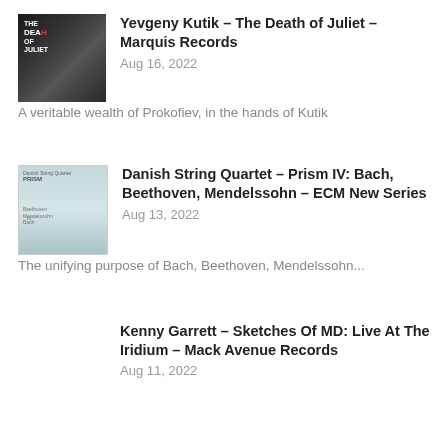[Figure (photo): Album cover for Yevgeny Kutik - The Death of Juliet, dark background with text overlay]
Yevgeny Kutik – The Death of Juliet – Marquis Records
Aug 16, 2022
A veritable wealth of Prokofiev, in the hands of Kutik
[Figure (photo): Album cover for Danish String Quartet - Prism IV, light blue/teal minimalist design]
Danish String Quartet – Prism IV: Bach, Beethoven, Mendelssohn – ECM New Series
Aug 13, 2022
The unifying purpose of Bach, Beethoven, Mendelssohn...
Kenny Garrett – Sketches Of MD: Live At The Iridium – Mack Avenue Records
Aug 11, 2022